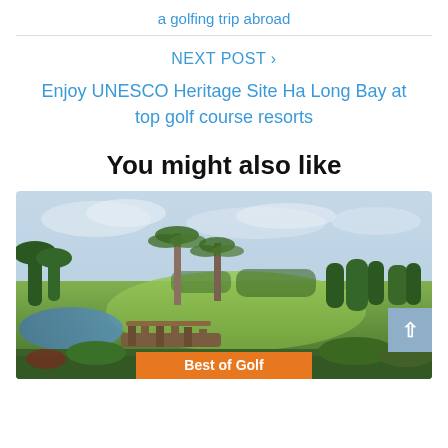a golfing trip abroad
NEXT POST ›
Enjoy UNESCO Heritage Site Ha Long Bay at top golf course resorts
You might also like
[Figure (photo): Golf course with bridge, palm trees, green fairway, water feature, and cloudy sky. Badge overlay reads 'Best of Golf'.]
Best of Golf